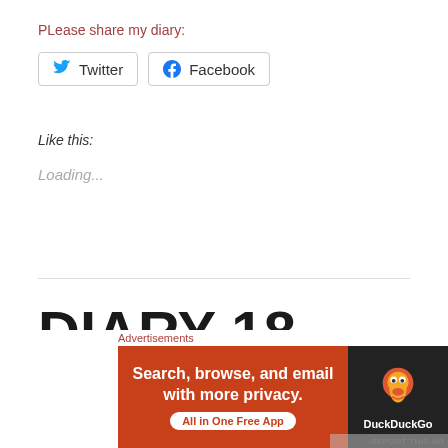PLease share my diary:
[Figure (screenshot): Twitter and Facebook share buttons]
Like this:
Loading...
DIARY 18 August 1969 Woodstock: the
[Figure (screenshot): DuckDuckGo advertisement banner: Search, browse, and email with more privacy. All in One Free App]